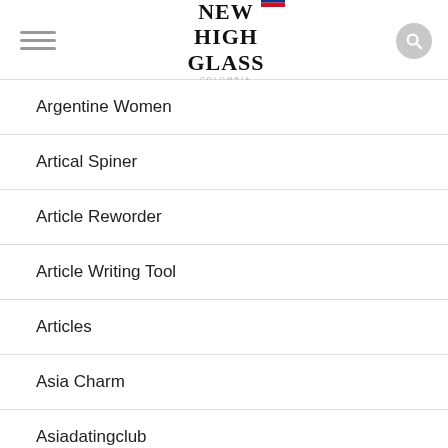NEW HIGH GLASS COLOMBIA
Argentine Women
Artical Spiner
Article Reworder
Article Writing Tool
Articles
Asia Charm
Asiadatingclub